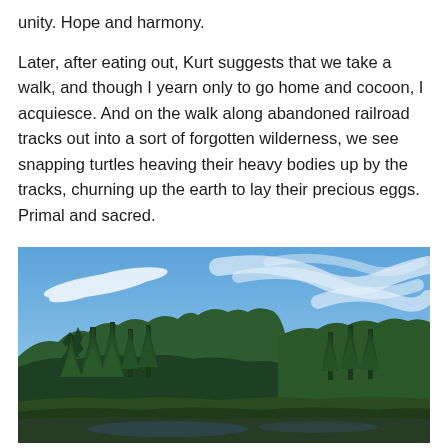unity. Hope and harmony.
Later, after eating out, Kurt suggests that we take a walk, and though I yearn only to go home and cocoon, I acquiesce. And on the walk along abandoned railroad tracks out into a sort of forgotten wilderness, we see snapping turtles heaving their heavy bodies up by the tracks, churning up the earth to lay their precious eggs. Primal and sacred.
[Figure (photo): Outdoor nature photograph showing a blue sky with wispy white cirrus clouds overhead, and a treeline of tall green coniferous trees (spruce/fir) filling the lower portion of the image, with what appears to be a wetland or marshy area in the foreground.]